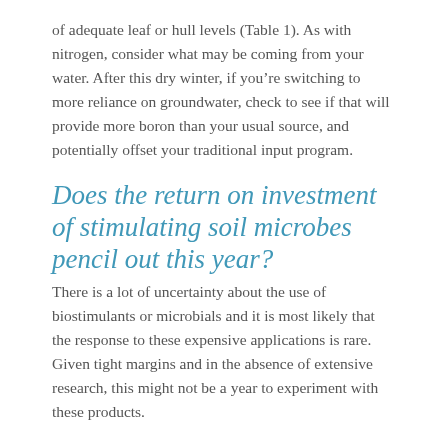of adequate leaf or hull levels (Table 1). As with nitrogen, consider what may be coming from your water. After this dry winter, if you're switching to more reliance on groundwater, check to see if that will provide more boron than your usual source, and potentially offset your traditional input program.
Does the return on investment of stimulating soil microbes pencil out this year?
There is a lot of uncertainty about the use of biostimulants or microbials and it is most likely that the response to these expensive applications is rare. Given tight margins and in the absence of extensive research, this might not be a year to experiment with these products.